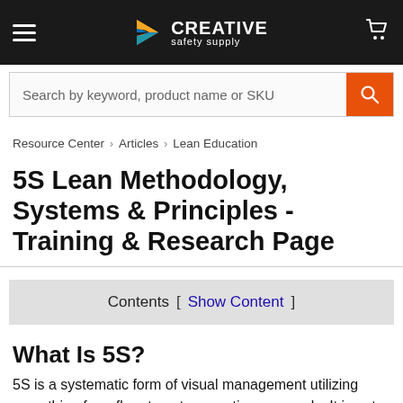Creative Safety Supply — navigation bar with hamburger menu, logo, and cart icon
[Figure (screenshot): Search bar with placeholder text: Search by keyword, product name or SKU, and an orange search button]
Resource Center > Articles > Lean Education
5S Lean Methodology, Systems & Principles - Training & Research Page
Contents [ Show Content ]
What Is 5S?
5S is a systematic form of visual management utilizing everything from floor tape to operations manuals. It is not just about cleanliness or organization; it is also about maximizing efficiency